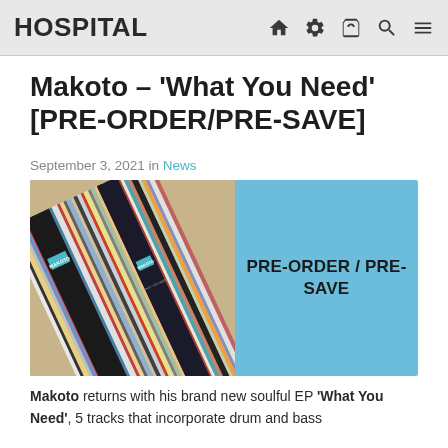HOSPITAL
Makoto – 'What You Need' [PRE-ORDER/PRE-SAVE]
September 3, 2021 in News
[Figure (photo): Blue banner with vinyl record stack photo on left labeled MAKOTO / WHAT YOU NEED, and bold text PRE-ORDER / PRE-SAVE on the right]
Makoto returns with his brand new soulful EP 'What You Need', 5 tracks that incorporate drum and bass